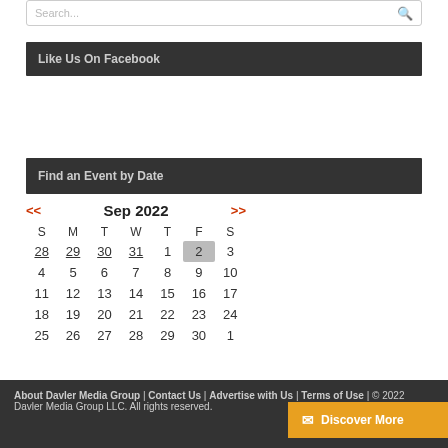Search...
Like Us On Facebook
Find an Event by Date
| S | M | T | W | T | F | S |
| --- | --- | --- | --- | --- | --- | --- |
| 28 | 29 | 30 | 31 | 1 | 2 | 3 |
| 4 | 5 | 6 | 7 | 8 | 9 | 10 |
| 11 | 12 | 13 | 14 | 15 | 16 | 17 |
| 18 | 19 | 20 | 21 | 22 | 23 | 24 |
| 25 | 26 | 27 | 28 | 29 | 30 | 1 |
About Davler Media Group | Contact Us | Advertise with Us | Terms of Use | © 2022 Davler Media Group LLC. All rights reserved.